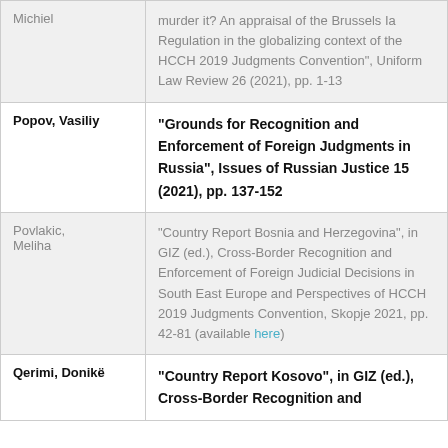| Author | Citation |
| --- | --- |
| Michiel | murder it? An appraisal of the Brussels Ia Regulation in the globalizing context of the HCCH 2019 Judgments Convention", Uniform Law Review 26 (2021), pp. 1-13 |
| Popov, Vasiliy | "Grounds for Recognition and Enforcement of Foreign Judgments in Russia", Issues of Russian Justice 15 (2021), pp. 137-152 |
| Povlakic, Meliha | "Country Report Bosnia and Herzegovina", in GIZ (ed.), Cross-Border Recognition and Enforcement of Foreign Judicial Decisions in South East Europe and Perspectives of HCCH 2019 Judgments Convention, Skopje 2021, pp. 42-81 (available here) |
| Qerimi, Donikë | "Country Report Kosovo", in GIZ (ed.), Cross-Border Recognition and |